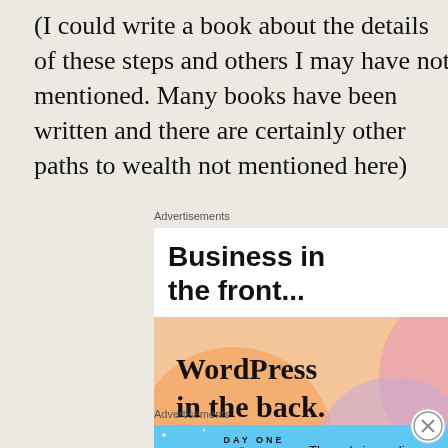(I could write a book about the details of these steps and others I may have not mentioned. Many books have been written and there are certainly other paths to wealth not mentioned here)
Advertisements
[Figure (other): WordPress VIP advertisement: 'Business in the front...' as headline text on white background, below an image with orange/pink gradient bubbles and text 'WordPress in the back.' with WVIP logo and 'Learn more →' button]
Advertisements
[Figure (other): Day One journaling app advertisement on light blue background with 'DAY ONE' logo, icons of a journal, person, and list, and text 'The only journaling app you'll ever need.']